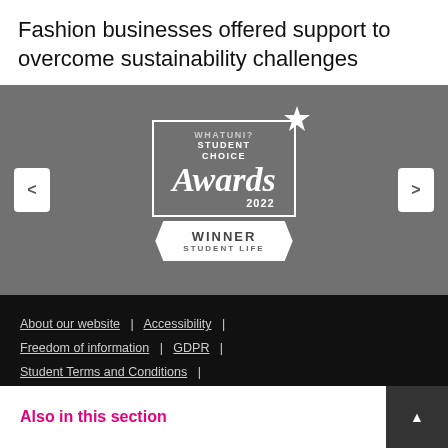Fashion businesses offered support to overcome sustainability challenges
[Figure (logo): WhatUni? Student Choice Awards 2022 Winner Student Life logo/badge on grey background with navigation arrows]
About our website | Accessibility | Freedom of information | GDPR | Student Terms and Conditions | Website Cookies and Privacy Policy
© Nottingham Trent University
Also in this section